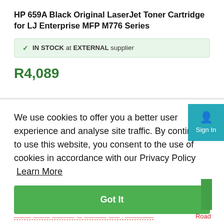HP 659A Black Original LaserJet Toner Cartridge for LJ Enterprise MFP M776 Series
✓  IN STOCK at EXTERNAL supplier
R4,089
We use cookies to offer you a better user experience and analyse site traffic. By continuing to use this website, you consent to the use of cookies in accordance with our Privacy Policy  Learn More
Got It
Sign In
Road